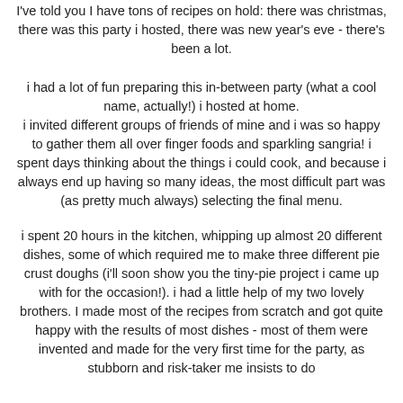I've told you I have tons of recipes on hold: there was christmas, there was this party i hosted, there was new year's eve - there's been a lot.
i had a lot of fun preparing this in-between party (what a cool name, actually!) i hosted at home. i invited different groups of friends of mine and i was so happy to gather them all over finger foods and sparkling sangria! i spent days thinking about the things i could cook, and because i always end up having so many ideas, the most difficult part was (as pretty much always) selecting the final menu.
i spent 20 hours in the kitchen, whipping up almost 20 different dishes, some of which required me to make three different pie crust doughs (i'll soon show you the tiny-pie project i came up with for the occasion!). i had a little help of my two lovely brothers. I made most of the recipes from scratch and got quite happy with the results of most dishes - most of them were invented and made for the very first time for the party, as stubborn and risk-taker me insists to do